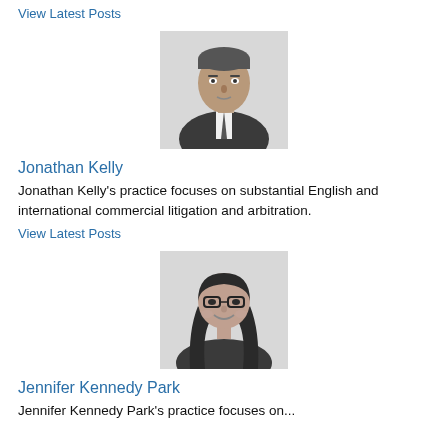View Latest Posts
[Figure (photo): Black and white headshot of Jonathan Kelly, a man in a suit and tie]
Jonathan Kelly
Jonathan Kelly's practice focuses on substantial English and international commercial litigation and arbitration.
View Latest Posts
[Figure (photo): Black and white headshot of Jennifer Kennedy Park, a woman with long dark hair and glasses, smiling]
Jennifer Kennedy Park
Jennifer Kennedy Park's practice focuses on...